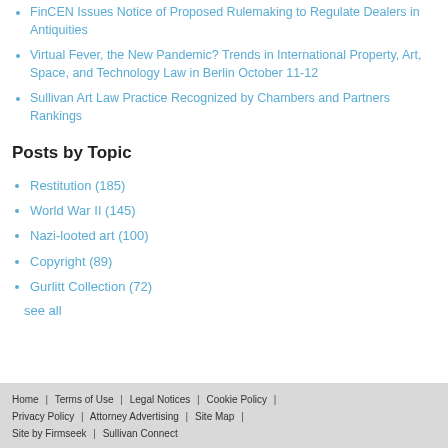FinCEN Issues Notice of Proposed Rulemaking to Regulate Dealers in Antiquities
Virtual Fever, the New Pandemic? Trends in International Property, Art, Space, and Technology Law in Berlin October 11-12
Sullivan Art Law Practice Recognized by Chambers and Partners Rankings
Posts by Topic
Restitution (185)
World War II (145)
Nazi-looted art (100)
Copyright (89)
Gurlitt Collection (72)
see all
Home | Terms of Use | Legal Notices | Cookie Policy | Privacy Policy | Attorney Advertising | Site Map | Site by Firmseek | Sullivan Connect